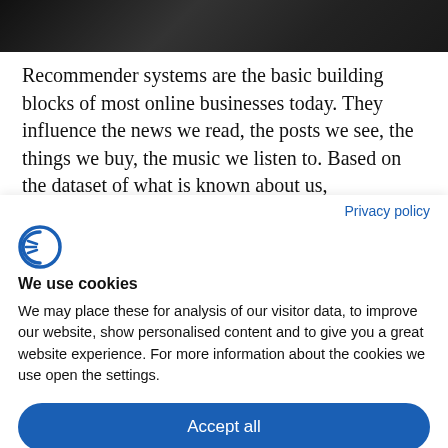[Figure (photo): Dark photograph, appears to be a screenshot of a website header image with a person or scene, rendered in dark tones]
Recommender systems are the basic building blocks of most online businesses today. They influence the news we read, the posts we see, the things we buy, the music we listen to. Based on the dataset of what is known about us, recommender system finds something we
Privacy policy
[Figure (logo): Cookiebot logo — circular C-like icon in blue]
We use cookies
We may place these for analysis of our visitor data, to improve our website, show personalised content and to give you a great website experience. For more information about the cookies we use open the settings.
Accept all
Deny
No, adjust